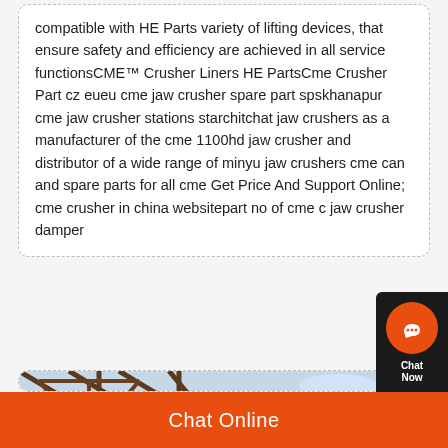compatible with HE Parts variety of lifting devices, that ensure safety and efficiency are achieved in all service functionsCME™ Crusher Liners HE PartsCme Crusher Part cz eueu cme jaw crusher spare part spskhanapur cme jaw crusher stations starchitchat jaw crushers as a manufacturer of the cme 1100hd jaw crusher and distributor of a wide range of minyu jaw crushers cme can and spare parts for all cme Get Price And Support Online; cme crusher in china websitepart no of cme c jaw crusher damper
[Figure (photo): Industrial steel frame structure or conveyor/crusher equipment photographed from below against a blue sky, with blue industrial equipment visible in the background.]